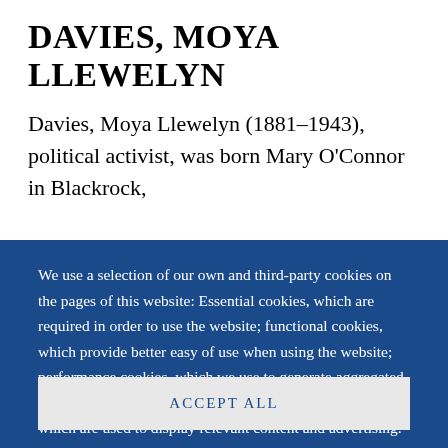DAVIES, MOYA LLEWELYN
Davies, Moya Llewelyn (1881–1943), political activist, was born Mary O'Connor in Blackrock,
We use a selection of our own and third-party cookies on the pages of this website: Essential cookies, which are required in order to use the website; functional cookies, which provide better easy of use when using the website; performance cookies, which we use to generate aggregated data on website use and statistics; and marketing cookies, which are used to display relevant content and advertising. If you choose "ACCEPT ALL", you consent to the use of all cookies. You can accept and
ACCEPT ALL